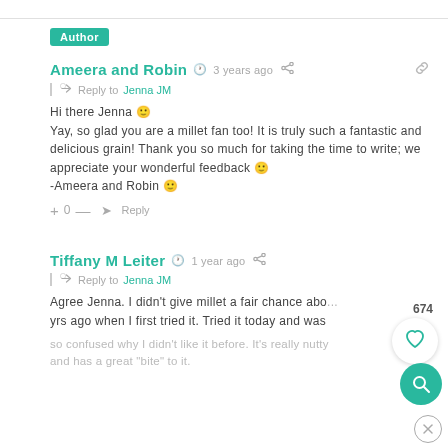Author
Ameera and Robin · 3 years ago
Reply to Jenna JM
Hi there Jenna 🙂
Yay, so glad you are a millet fan too! It is truly such a fantastic and delicious grain! Thank you so much for taking the time to write; we appreciate your wonderful feedback 🙂
-Ameera and Robin 🙂
+ 0 — → Reply
Tiffany M Leiter · 1 year ago
Reply to Jenna JM
Agree Jenna. I didn't give millet a fair chance abo... yrs ago when I first tried it. Tried it today and was so confused why I didn't like it before. It's really nutty and has a great "bite" to it.